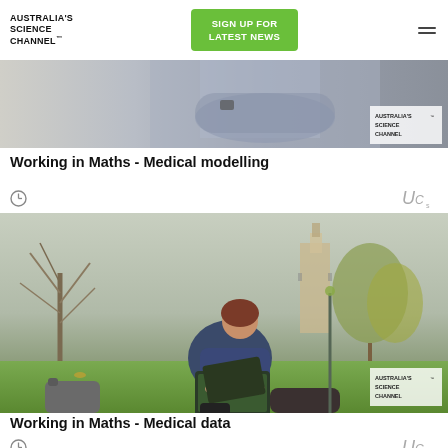Australia's Science Channel™
[Figure (screenshot): Green Sign Up For Latest News button and hamburger menu on white header]
[Figure (photo): Video thumbnail showing a man with arms crossed, wearing a grey sweater, with Australia's Science Channel logo overlay]
Working in Maths - Medical modelling
[Figure (photo): Woman sitting on grass in a park working on a laptop, with trees and a building tower in the background. Australia's Science Channel logo in corner.]
Working in Maths - Medical data